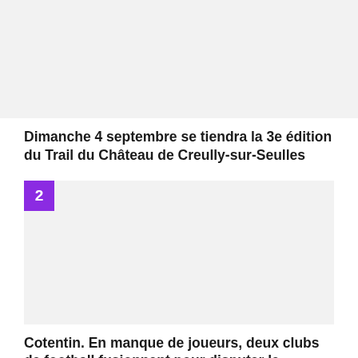[Figure (photo): Image placeholder for article 1 about Trail du Château de Creully-sur-Seulles]
Dimanche 4 septembre se tiendra la 3e édition du Trail du Château de Creully-sur-Seulles
[Figure (photo): Image placeholder for article 2 about football clubs in Cotentin, with number badge '2']
Cotentin. En manque de joueurs, deux clubs de football fusionnent pour disputer le championnat